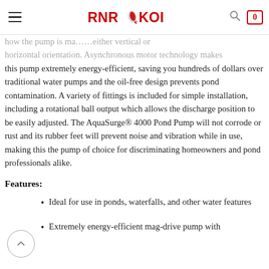RNR KOI
how the pump is ma... either vertical or horizontal orientation. Asynchronous motor technology makes this pump extremely energy-efficient, saving you hundreds of dollars over traditional water pumps and the oil-free design prevents pond contamination. A variety of fittings is included for simple installation, including a rotational ball output which allows the discharge position to be easily adjusted. The AquaSurge® 4000 Pond Pump will not corrode or rust and its rubber feet will prevent noise and vibration while in use, making this the pump of choice for discriminating homeowners and pond professionals alike.
Features:
Ideal for use in ponds, waterfalls, and other water features
Extremely energy-efficient mag-drive pump with